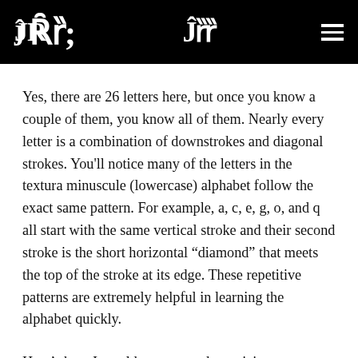JR [logo] | [hamburger menu]
Yes, there are 26 letters here, but once you know a couple of them, you know all of them. Nearly every letter is a combination of downstrokes and diagonal strokes. You’ll notice many of the letters in the textura minuscule (lowercase) alphabet follow the exact same pattern. For example, a, c, e, g, o, and q all start with the same vertical stroke and their second stroke is the short horizontal “diamond” that meets the top of the stroke at its edge. These repetitive patterns are extremely helpful in learning the alphabet quickly.
Here’s how I would recommend practicing: